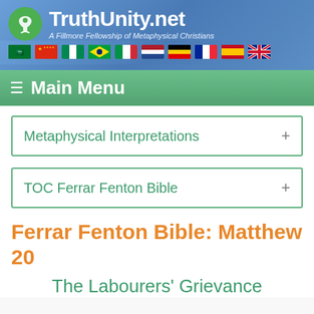TruthUnity.net — A Fillmore Fellowship of Metaphysical Christians
[Figure (screenshot): Navigation menu bar with hamburger icon and Main Menu text on green background]
Metaphysical Interpretations +
TOC Ferrar Fenton Bible +
Ferrar Fenton Bible: Matthew 20
The Labourers' Grievance